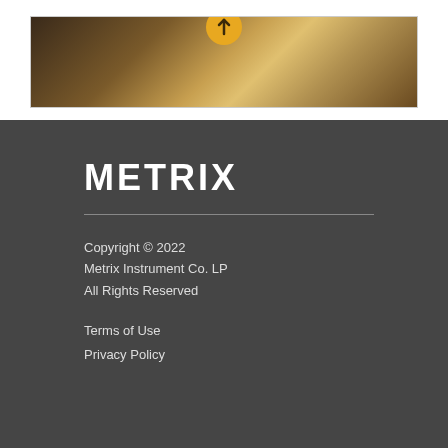[Figure (photo): Partial view of a decorative/product image with warm golden-brown abstract tones, with a circular logo mark at the top center]
METRIX
Copyright © 2022
Metrix Instrument Co. LP
All Rights Reserved
Terms of Use
Privacy Policy